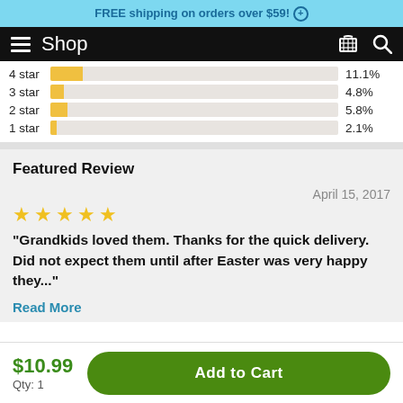FREE shipping on orders over $59! +
Shop
[Figure (bar-chart): Star ratings distribution]
Featured Review
April 15, 2017
"Grandkids loved them. Thanks for the quick delivery. Did not expect them until after Easter was very happy they..."
Read More
$10.99
Qty: 1
Add to Cart